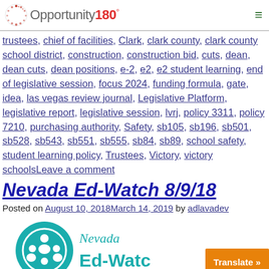Opportunity180°
trustees, chief of facilities, Clark, clark county, clark county school district, construction, construction bid, cuts, dean, dean cuts, dean positions, e-2, e2, e2 student learning, end of legislative session, focus 2024, funding formula, gate, idea, las vegas review journal, Legislative Platform, legislative report, legislative session, lvrj, policy 3311, policy 7210, purchasing authority, Safety, sb105, sb196, sb501, sb528, sb543, sb551, sb555, sb84, sb89, school safety, student learning policy, Trustees, Victory, victory schoolsLeave a comment
Nevada Ed-Watch 8/9/18
Posted on August 10, 2018March 14, 2019 by adlavadev
[Figure (logo): Nevada Ed-Watch logo with teal circular icon and stylized script text, partially obscured by orange Translate button]